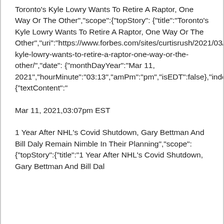Toronto's Kyle Lowry Wants To Retire A Raptor, One Way Or The Other","scope":{"topStory": {"title":"Toronto's Kyle Lowry Wants To Retire A Raptor, One Way Or The Other","uri":"https://www.forbes.com/sites/curtisrush/2021/03/11/torontos-kyle-lowry-wants-to-retire-a-raptor-one-way-or-the-other/","date": {"monthDayYear":"Mar 11, 2021","hourMinute":"03:13","amPm":"pm","isEDT":false},"index":1}},"id":"349phe41qakg00"},{"textContent":"
Mar 11, 2021,03:07pm EST
1 Year After NHL's Covid Shutdown, Gary Bettman And Bill Daly Remain Nimble In Their Planning","scope":{"topStory":{"title":"1 Year After NHL's Covid Shutdown, Gary Bettman And Bill Dal